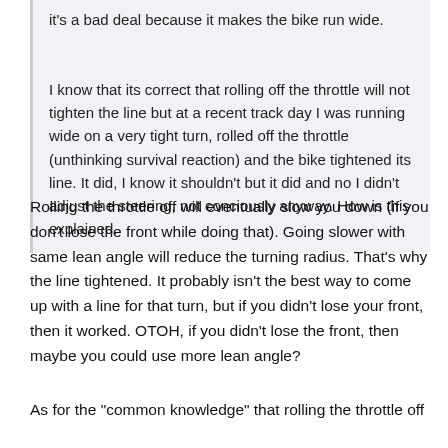Actually, it's called a survival reaction, not a technique. And it's a bad deal because it makes the bike run wide.

I know that its correct that rolling off the throttle will not tighten the line but at a recent track day I was running wide on a very tight turn, rolled off the throttle (unthinking survival reaction) and the bike tightened its line. It did, I know it shouldn't but it did and no I didn't adjust the steering, not conciously anyway. How is this explained.
Rolling the throttle off will eventually slow you down (if you don't lose the front while doing that). Going slower with same lean angle will reduce the turning radius. That's why the line tightened. It probably isn't the best way to come up with a line for that turn, but if you didn't lose your front, then it worked. OTOH, if you didn't lose the front, then maybe you could use more lean angle?
As for the "common knowledge" that rolling the throttle off